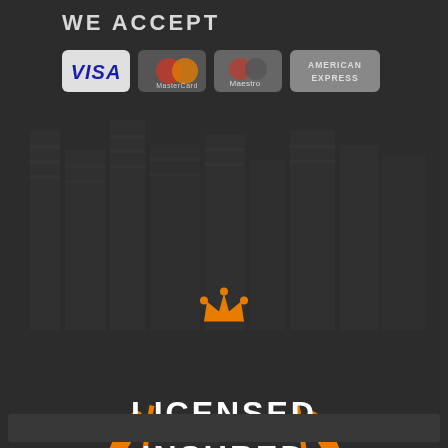WE ACCEPT
[Figure (logo): Payment card logos: VISA, MasterCard, Maestro, American Express on light rounded badge backgrounds]
[Figure (illustration): Licensed Insured Bonded badge with orange crown at top, two orange laurel wreaths on sides, white bold text reading LICENSED INSURED BONDED in center on dark background]